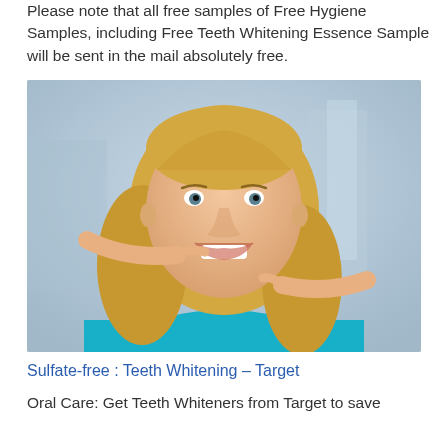Please note that all free samples of Free Hygiene Samples, including Free Teeth Whitening Essence Sample will be sent in the mail absolutely free.
[Figure (photo): A smiling blonde woman in a teal top pointing at her bright white teeth with both index fingers, photographed against a blurred urban background.]
Sulfate-free : Teeth Whitening – Target
Oral Care: Get Teeth Whiteners from Target to save